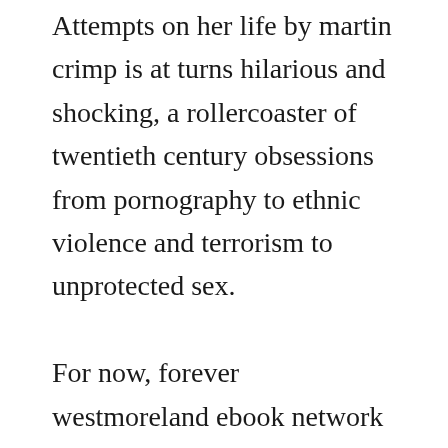Attempts on her life by martin crimp is at turns hilarious and shocking, a rollercoaster of twentieth century obsessions from pornography to ethnic violence and terrorism to unprotected sex.

For now, forever westmoreland ebook network overdrive. The 2010s were supposed to bring the ebook revolution. Pdf attempts on her life download full full pdf ebook. Confusing at first, the necessity of the set becomes clearer when, in the shows second scene, a large screen. Martin andrew crimp born 14 february 1956 in dartford, kent is a